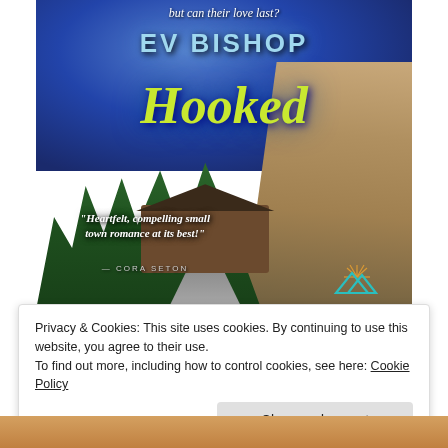[Figure (illustration): Book cover for 'Hooked' by Ev Bishop. Dark blue sky background with mountain cliff on the right, evergreen trees on the left, a log cabin in the center, and a road leading to it. Author name 'EV BISHOP' in large teal letters, title 'Hooked' in large yellow-green cursive. Tagline 'but can their love last?' at top. Quote: 'Heartfelt, compelling small town romance at its best!' attributed to Cora Seton. Publisher logo (teal mountains) at bottom right.]
Privacy & Cookies: This site uses cookies. By continuing to use this website, you agree to their use.
To find out more, including how to control cookies, see here: Cookie Policy
Close and accept